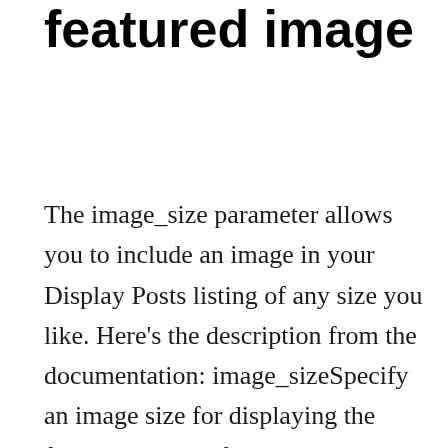featured image
The image_size parameter allows you to include an image in your Display Posts listing of any size you like. Here's the description from the documentation: image_sizeSpecify an image size for displaying the featured image, if the post has one. The image_size can be set to thumbnail, medium, large (all controlled from Settings > Media), or […]